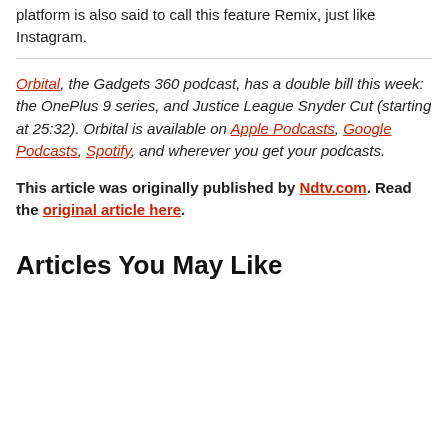platform is also said to call this feature Remix, just like Instagram.
Orbital, the Gadgets 360 podcast, has a double bill this week: the OnePlus 9 series, and Justice League Snyder Cut (starting at 25:32). Orbital is available on Apple Podcasts, Google Podcasts, Spotify, and wherever you get your podcasts.
This article was originally published by Ndtv.com. Read the original article here.
Articles You May Like